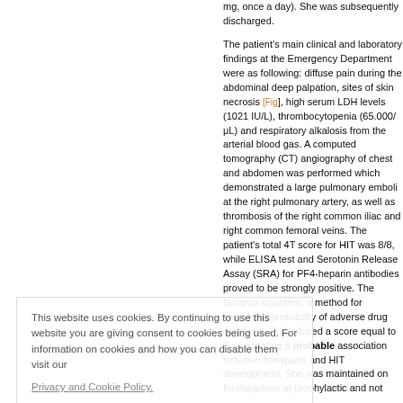mg, once a day). She was subsequently discharged.
The patient's main clinical and laboratory findings at the Emergency Department were as following: diffuse pain during the abdominal deep palpation, sites of skin necrosis [Fig], high serum LDH levels (1021 IU/L), thrombocytopenia (65.000/μL) and respiratory alkalosis from the arterial blood gas. A computed tomography (CT) angiography of chest and abdomen was performed which demonstrated a large pulmonary emboli at the right pulmonary artery, as well as thrombosis of the right common iliac and right common femoral veins. The patient's total 4T score for HIT was 8/8, while ELISA test and Serotonin Release Assay (SRA) for PF4-heparin antibodies proved to be strongly positive. The Naranjo algorithm, a method for estimating probability of adverse drug reactions, [3] produced a score equal to 7, suggesting a probable association between bemiparin and HIT development. She was maintained on fondaparinux at prophylactic and not
This website uses cookies. By continuing to use this website you are giving consent to cookies being used. For information on cookies and how you can disable them visit our Privacy and Cookie Policy.